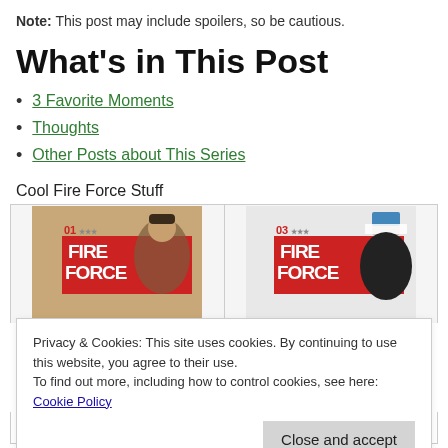Note: This post may include spoilers, so be cautious.
What’s in This Post
3 Favorite Moments
Thoughts
Other Posts about This Series
Cool Fire Force Stuff
[Figure (illustration): Two Fire Force manga volume covers side by side. Left: Volume 01, right: Volume 03.]
Privacy & Cookies: This site uses cookies. By continuing to use this website, you agree to their use.
To find out more, including how to control cookies, see here: Cookie Policy
Close and accept
★★★★★ (1451)
★★★★★ (968)